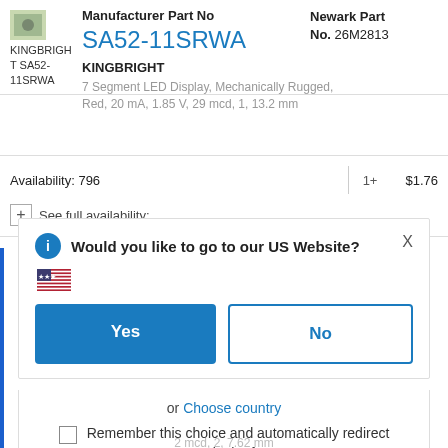[Figure (photo): Product thumbnail image for KINGBRIGHT SA52-11SRWA LED display]
KINGBRIGHT SA52-11SRWA
Manufacturer Part No
SA52-11SRWA
Newark Part No. 26M2813
KINGBRIGHT
7 Segment LED Display, Mechanically Rugged, Red, 20 mA, 1.85 V, 29 mcd, 1, 13.2 mm
Availability: 796
| Qty | Price |
| --- | --- |
| 1+ | $1.76 |
See full availability:
Would you like to go to our US Website?
[Figure (illustration): US flag emoji]
Yes
No
or  Choose country
Remember this choice and automatically redirect me in the future
2 mcd, 2, 7.62 mm